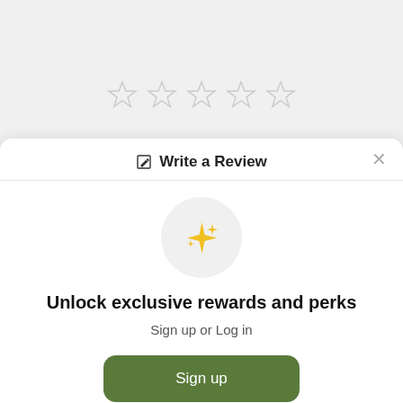[Figure (other): Five empty star rating icons in a row]
Write a Review
[Figure (other): Sparkle/stars emoji icon inside a gray circle]
Unlock exclusive rewards and perks
Sign up or Log in
Sign up
Already have an account? Sign in